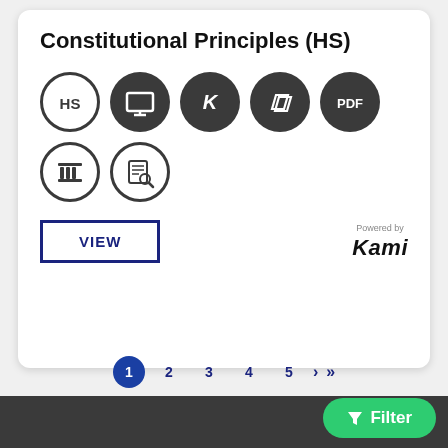Constitutional Principles (HS)
[Figure (infographic): Seven circular icons: HS label (outline circle), Google Slides (dark circle with screen icon), Kami K (dark circle), parallelogram/book icon (dark circle), PDF (dark circle), column/pillar icon (outline circle), document search icon (outline circle)]
[Figure (other): VIEW button (bordered rectangle, blue text) and Kami branding (Powered by Kami)]
[Figure (infographic): Pagination bar: 1 (active, blue circle), 2, 3, 4, 5, right arrow, double right arrow; green Filter button with funnel icon]